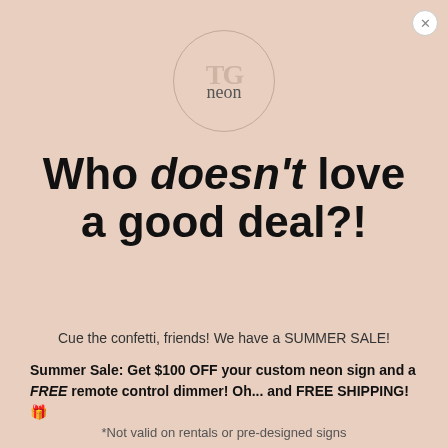[Figure (logo): Circular logo with TG letters in background and 'neon' script text in the center, pink/beige tones]
Who doesn't love a good deal?!
Cue the confetti, friends! We have a SUMMER SALE!
Summer Sale: Get $100 OFF your custom neon sign and a FREE remote control dimmer! Oh... and FREE SHIPPING! 🎉
*Not valid on rentals or pre-designed signs
Email address
34 buyers have designed their custom neon sign 🌟 in the past hour ✅ ProveSource